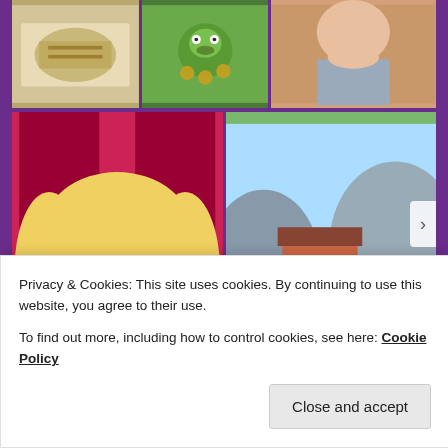[Figure (photo): Grid of images: top row has three photos (table setting with money, green Kermit frog with coins, person's face/shoulder). Middle row has two images: Miss Piggy from Muppets in pink dress, and a cartoon/illustrated scene with buildings, train and figures. Bottom partial row shows a glowing 'QUIZ' neon sign, and a comic strip panel.]
Privacy & Cookies: This site uses cookies. By continuing to use this website, you agree to their use.
To find out more, including how to control cookies, see here: Cookie Policy
Close and accept